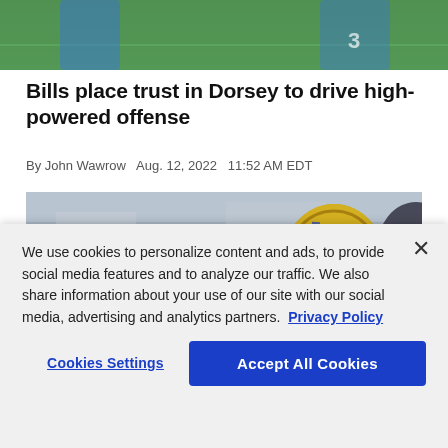[Figure (photo): Football players on a green field, top portion of image cropped]
Bills place trust in Dorsey to drive high-powered offense
By John Wawrow  Aug. 12, 2022  11:52 AM EDT
[Figure (photo): Football player in gold helmet reaching for a football mid-air during practice]
We use cookies to personalize content and ads, to provide social media features and to analyze our traffic. We also share information about your use of our site with our social media, advertising and analytics partners.  Privacy Policy
Cookies Settings
Accept All Cookies